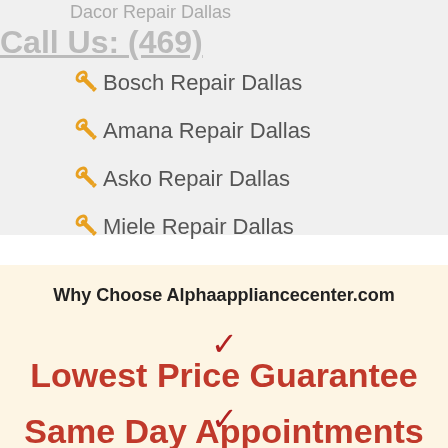Dacor Repair Dallas
Call Us: (469)
Bosch Repair Dallas
Amana Repair Dallas
Asko Repair Dallas
Miele Repair Dallas
Why Choose Alphaappliancecenter.com
Lowest Price Guarantee
Same Day Appointments